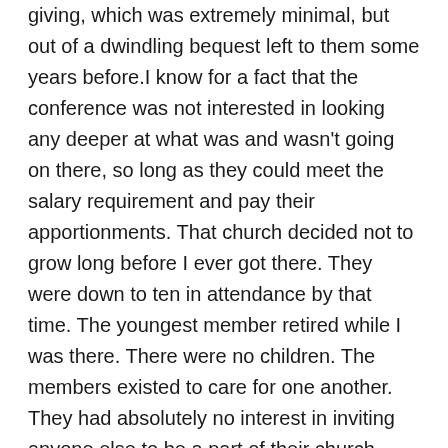giving, which was extremely minimal, but out of a dwindling bequest left to them some years before.I know for a fact that the conference was not interested in looking any deeper at what was and wasn't going on there, so long as they could meet the salary requirement and pay their apportionments. That church decided not to grow long before I ever got there. They were down to ten in attendance by that time. The youngest member retired while I was there. There were no children. The members existed to care for one another. They had absolutely no interest in inviting anyone else to be a part of their church. They “threatened” to close if the conference ever sent them a pastor of a different race. And slowly, one by one, they died.Please